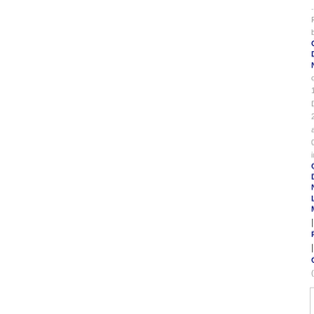Posted by Cat Du No on 15 Dec 201 at 08: in Cat Du No Lo Ma | Pe | Co (6) Tra (0)